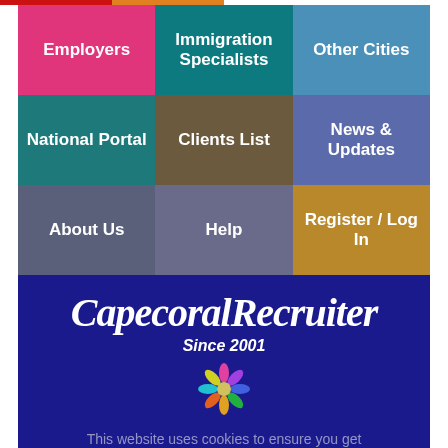[Figure (screenshot): Navigation grid with colored tiles for Employers, Immigration Specialists, Other Cities, National Portal, Clients List, News & Updates, About Us, Help, Register / Log In]
CapecoralRecruiter Since 2001
This website uses cookies to ensure you get the best experience on our website.
the smart solution for Cape Coral jobs
Got it!